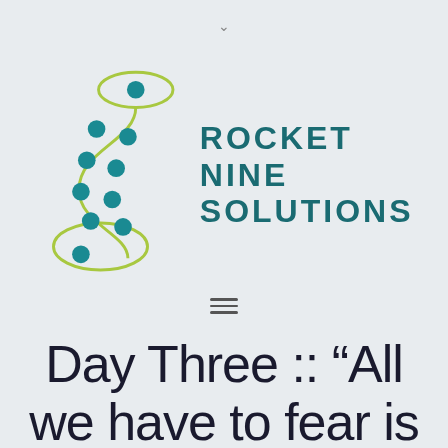[Figure (logo): Rocket Nine Solutions logo: stylized S-curve with teal dots and lime green oval shapes, beside bold teal text ROCKET NINE SOLUTIONS]
Day Three :: “All we have to fear is fear its self”